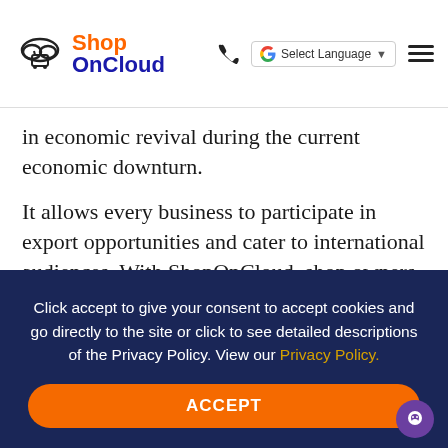ShopOnCloud — navigation header with logo, phone icon, Google Translate selector, and hamburger menu
in economic revival during the current economic downturn.
It allows every business to participate in export opportunities and cater to international audiences. With ShopOnCloud, shop owners can leverage their business to reach customers in multiple countries and ship products without any disruption to ease the burden of
Click accept to give your consent to accept cookies and go directly to the site or click to see detailed descriptions of the Privacy Policy. View our Privacy Policy.
ACCEPT